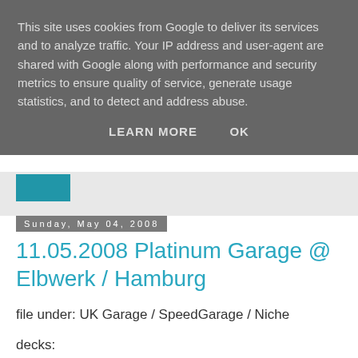This site uses cookies from Google to deliver its services and to analyze traffic. Your IP address and user-agent are shared with Google along with performance and security metrics to ensure quality of service, generate usage statistics, and to detect and address abuse.
LEARN MORE    OK
Sunday, May 04, 2008
11.05.2008 Platinum Garage @ Elbwerk / Hamburg
file under: UK Garage / SpeedGarage / Niche
decks:
baze.djunkiii [Intrauterin Recordings / Rudel Records / Byte.FM]
hour: 8 PM